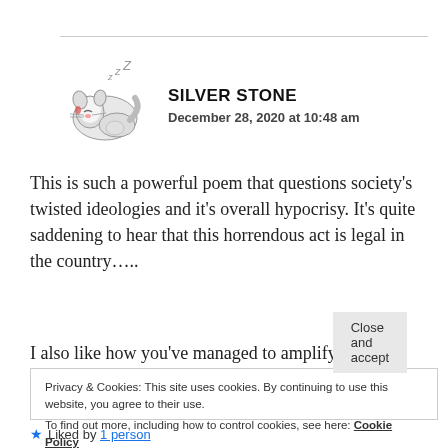[Figure (illustration): Cartoon avatar of a sleeping cat/dog with 'ZZZ' above it]
SILVER STONE
December 28, 2020 at 10:48 am
This is such a powerful poem that questions society's twisted ideologies and it's overall hypocrisy. It's quite saddening to hear that this horrendous act is legal in the country…..
I also like how you've managed to amplify the bitter
Privacy & Cookies: This site uses cookies. By continuing to use this website, you agree to their use.
To find out more, including how to control cookies, see here: Cookie Policy
Close and accept
Liked by 1 person